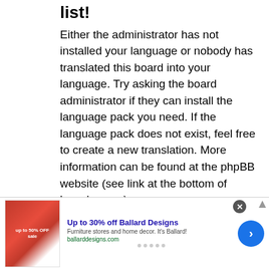list!
Either the administrator has not installed your language or nobody has translated this board into your language. Try asking the board administrator if they can install the language pack you need. If the language pack does not exist, feel free to create a new translation. More information can be found at the phpBB website (see link at the bottom of board pages).
Top
[Figure (infographic): Advertisement banner for Ballard Designs: Up to 30% off Ballard Designs. Furniture stores and home decor. It's Ballard! ballarddesigns.com. Shows a furniture/sale image on the left, text in center, a blue forward arrow button on the right, and a close (X) button in the corner.]